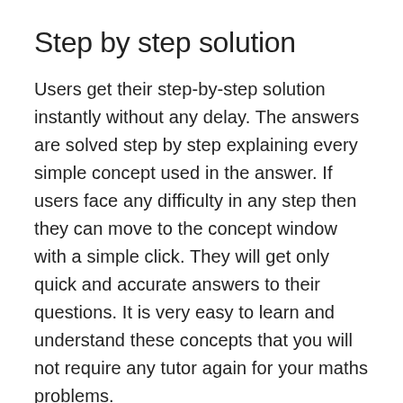Step by step solution
Users get their step-by-step solution instantly without any delay. The answers are solved step by step explaining every simple concept used in the answer. If users face any difficulty in any step then they can move to the concept window with a simple click. They will get only quick and accurate answers to their questions. It is very easy to learn and understand these concepts that you will not require any tutor again for your maths problems.
Convenience
You can use it anytime, anywhere. You can upload your questions using the internet but can save your answers for future use without any internet connection. It is the most convenient way of getting help in the subject. Just turn off